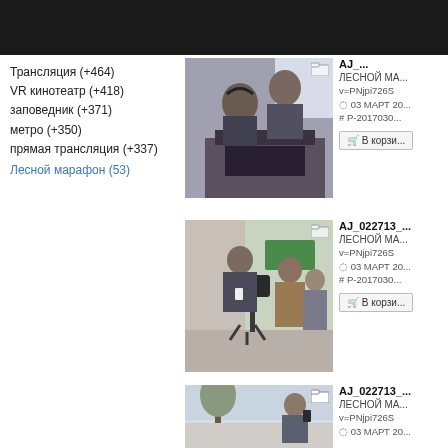Трансляция (+464)
VR кинотеатр (+418)
заповедник (+371)
метро (+350)
прямая трансляция (+337)
Лесной марафон (53)
[Figure (photo): Two men working at a sound mixing console with laptops, one wearing headphones]
AJ_...
ЛЕСНОЙ МА...
v=PNjpi726S
03 МАРТ 20...
# P-2017030...
В корзи...
[Figure (photo): Cameraman filming an event with other people in the background]
AJ_022713_...
ЛЕСНОЙ МА...
v=PNjpi726S
03 МАРТ 20...
# P-2017030...
В корзи...
[Figure (photo): Outdoor scene with person holding camera/phone, tree visible in background]